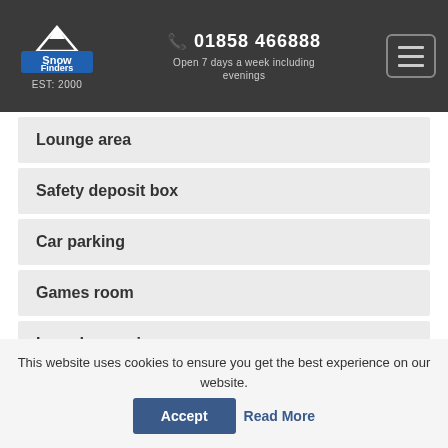Snow Finders EST: 2000 | 01858 466888 | Open 7 days a week including evenings
Lounge area
Safety deposit box
Car parking
Games room
Laundry service
This website uses cookies to ensure you get the best experience on our website.
Accept | Read More